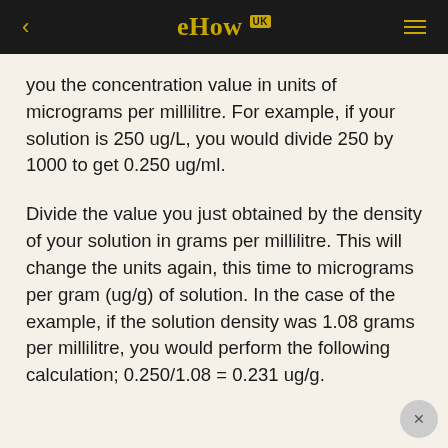eHow UK
you the concentration value in units of micrograms per millilitre. For example, if your solution is 250 ug/L, you would divide 250 by 1000 to get 0.250 ug/ml.
Divide the value you just obtained by the density of your solution in grams per millilitre. This will change the units again, this time to micrograms per gram (ug/g) of solution. In the case of the example, if the solution density was 1.08 grams per millilitre, you would perform the following calculation; 0.250/1.08 = 0.231 ug/g.